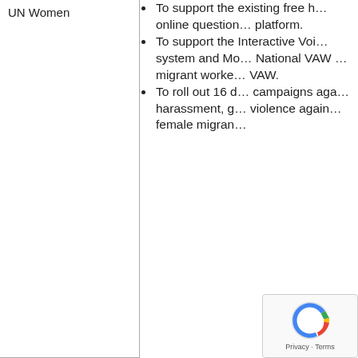UN Women
To support the existing free h... online question... platform.
To support the Interactive Voi... system and M... National VAW ... migrant worke... VAW.
To roll out 16 d... campaigns aga... harassment, g... violence again... female migran...